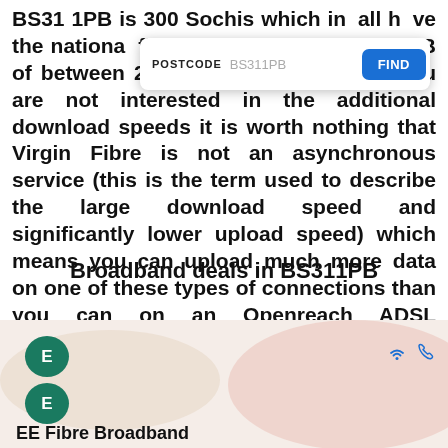BS31 1PB is 300 Sochis which incendially have the national fibre connection in BS31 1PB of between 200 and 300mbs. Even if you are not interested in the additional download speeds it is worth nothing that Virgin Fibre is not an asynchronous service (this is the term used to describe the large download speed and significantly lower upload speed) which means you can upload much more data on one of these types of connections than you can on an Openreach ADSL connection.
[Figure (screenshot): Search bar overlay showing POSTCODE label, BS311PB placeholder text, and a blue FIND button]
Broadband deals in BS311PB
[Figure (screenshot): EE broadband advertisement card with green EE logo circles, decorative pink/cream background shapes, wifi and phone icons, and EE Fibre Broadband product name]